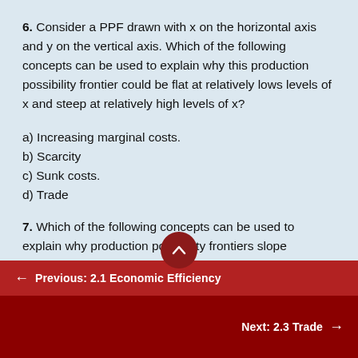6. Consider a PPF drawn with x on the horizontal axis and y on the vertical axis. Which of the following concepts can be used to explain why this production possibility frontier could be flat at relatively lows levels of x and steep at relatively high levels of x?
a) Increasing marginal costs.
b) Scarcity
c) Sunk costs.
d) Trade
7. Which of the following concepts can be used to explain why production possibility frontiers slope
← Previous: 2.1 Economic Efficiency
Next: 2.3 Trade →